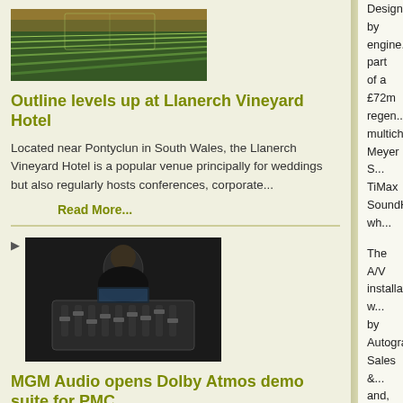[Figure (photo): Vineyard rows with green foliage, aerial/wide view, warm lighting]
Outline levels up at Llanerch Vineyard Hotel
Located near Pontyclun in South Wales, the Llanerch Vineyard Hotel is a popular venue principally for weddings but also regularly hosts conferences, corporate...
Read More...
[Figure (photo): Man standing in front of audio mixing console in a studio environment]
MGM Audio opens Dolby Atmos demo suite for PMC
Swiss distributor MGM Audio has opened a new Dolby Atmos Music demo facility at its premises in Glattbrugg, near Zurich airport, to showcase the suitability...
Read More...
Designed by engine... part of a £72m regen... multichannel Meyer S... TiMax SoundHub, wh...
The A/V installation w... by Autograph Sales &... and, in addition to the... SoundHub devices (6... channels respectively... infrastructure calls or... UltraCompact and 38... miniature full-range l... supported by ten MM... subwoofers, along wi... 488HP units handling... signal distribution.
The Leisure Realm's... The Street, a semi-e... reverberant space su... 15m-high walls wher... indirect and reflected... effects; this is particu...
The Events Boulevar... features such as the... features; and The Lin...